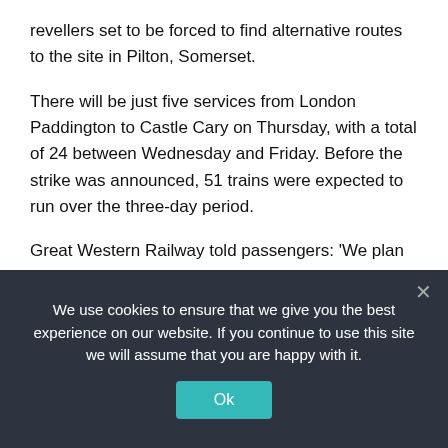revellers set to be forced to find alternative routes to the site in Pilton, Somerset.
There will be just five services from London Paddington to Castle Cary on Thursday, with a total of 24 between Wednesday and Friday. Before the strike was announced, 51 trains were expected to run over the three-day period.
Great Western Railway told passengers: 'We plan to maintain timetabled trains between Castle Cary and London Paddington throughout the course of the
We use cookies to ensure that we give you the best experience on our website. If you continue to use this site we will assume that you are happy with it.